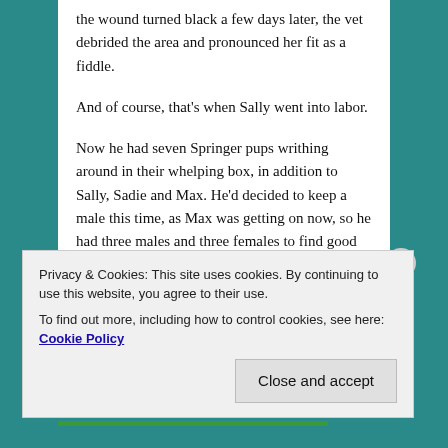the wound turned black a few days later, the vet debrided the area and pronounced her fit as a fiddle.
And of course, that's when Sally went into labor.
Now he had seven Springer pups writhing around in their whelping box, in addition to Sally, Sadie and Max. He'd decided to keep a male this time, as Max was getting on now, so he had three males and three females to find good homes for. Tom Stoddard was a natural – and as the man's two daughters had loved Lucy more than anyone could have hoped, he had reason to think he'd be a good match once again.
He looked up, saw Stoddard's old Ford coming up the
Privacy & Cookies: This site uses cookies. By continuing to use this website, you agree to their use.
To find out more, including how to control cookies, see here: Cookie Policy
Close and accept